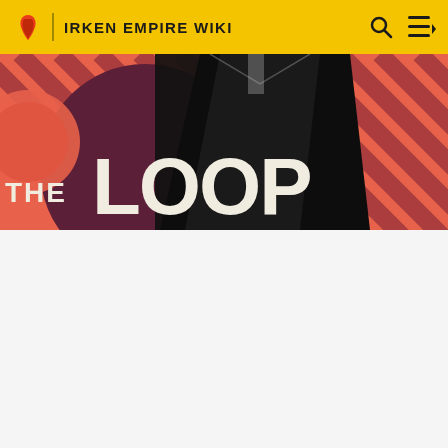IRKEN EMPIRE WIKI
[Figure (screenshot): Hero banner image for 'The Loop' with a dark cloaked figure in center, coral/salmon colored diagonal striped background, large purple circle on left with 'THE LOOP' text in white bold letters]